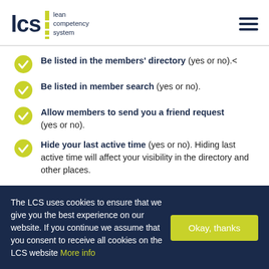lcs lean competency system
Be listed in the members' directory (yes or no).<
Be listed in member search (yes or no).
Allow members to send you a friend request (yes or no).
Hide your last active time (yes or no). Hiding last active time will affect your visibility in the directory and other places.
The LCS uses cookies to ensure that we give you the best experience on our website. If you continue we assume that you consent to receive all cookies on the LCS website More info